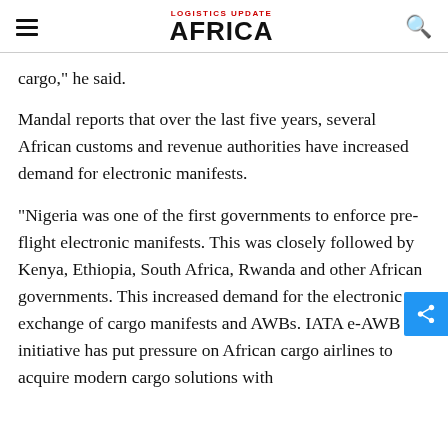LOGISTICS UPDATE AFRICA
cargo," he said.
Mandal reports that over the last five years, several African customs and revenue authorities have increased demand for electronic manifests.
"Nigeria was one of the first governments to enforce pre-flight electronic manifests. This was closely followed by Kenya, Ethiopia, South Africa, Rwanda and other African governments. This increased demand for the electronic exchange of cargo manifests and AWBs. IATA e-AWB initiative has put pressure on African cargo airlines to acquire modern cargo solutions with